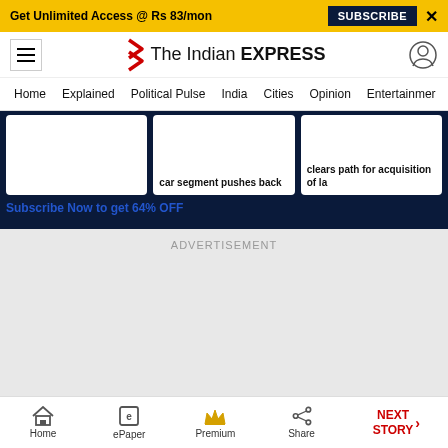Get Unlimited Access @ Rs 83/mon  SUBSCRIBE  X
[Figure (logo): The Indian Express logo with red chevrons and bold text]
Home  Explained  Political Pulse  India  Cities  Opinion  Entertainment
car segment pushes back
clears path for acquisition of la
Subscribe Now to get 64% OFF
ADVERTISEMENT
Home  ePaper  Premium  Share  NEXT STORY